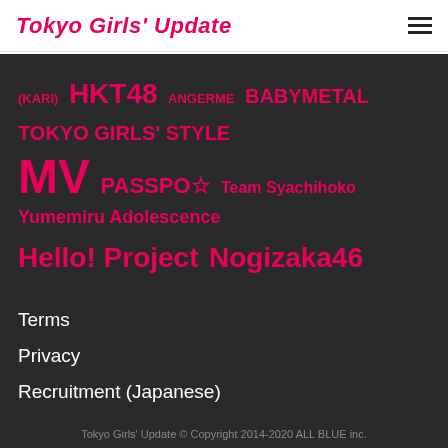Tokyo Girls' Update
(KARI) HKT48 ANGERME BABYMETAL TOKYO GIRLS' STYLE MV PASSPO☆ Team Syachihoko Yumemiru Adolescence Hello! Project Nogizaka46
Terms
Privacy
Recruitment (Japanese)
Contact
Tokyo Girls' Update © Copyright 2014-2020 ALL BLUE inc.